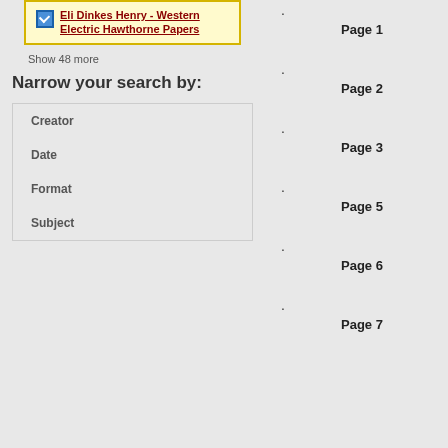Eli Dinkes Henry - Western Electric Hawthorne Papers
Show 48 more
Narrow your search by:
Creator
Date
Format
Subject
Page 1
Page 2
Page 3
Page 5
Page 6
Page 7